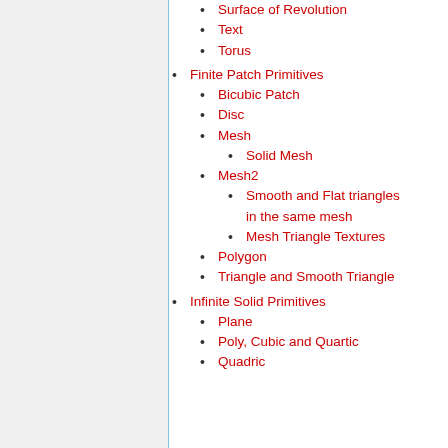Surface of Revolution
Text
Torus
Finite Patch Primitives
Bicubic Patch
Disc
Mesh
Solid Mesh
Mesh2
Smooth and Flat triangles in the same mesh
Mesh Triangle Textures
Polygon
Triangle and Smooth Triangle
Infinite Solid Primitives
Plane
Poly, Cubic and Quartic
Quadric